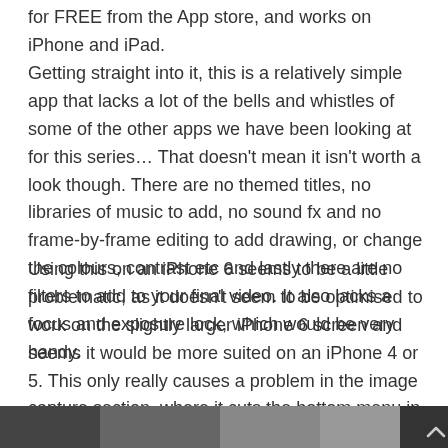for FREE from the App store, and works on iPhone and iPad.
Getting straight into it, this is a relatively simple app that lacks a lot of the bells and whistles of some of the other apps we have been looking at for this series… That doesn't mean it isn't worth a look though. There are no themed titles, no libraries of music to add, no sound fx and no frame-by-frame editing to add drawing, or change the colours, contrast etc and lastly there are no filters to add to your final video. It also lacks a focus and exposure lock, which would be very handy.
Using this on an iPhone 6 seems to be a little problematic, as it doesn't seem to be optimised to work on the slightly larger iPhone 6 screen and seems it would be more suited on an iPhone 4 or 5. This only really causes a problem in the image capture section, where it cuts the bottom menu in half, but seeing as the controls in that menu aren't that important it doesn't make a huge difference.
[Figure (photo): Partial image strip at the bottom of the page showing a dark photo, partially cut off, with a chevron/arrow icon in the bottom right corner.]